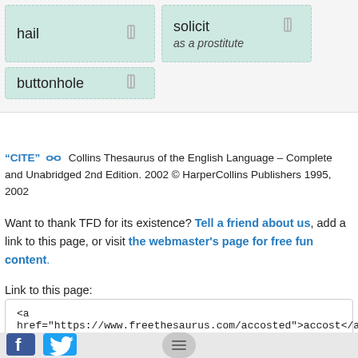hail
solicit
as a prostitute
buttonhole
“CITE” Collins Thesaurus of the English Language – Complete and Unabridged 2nd Edition. 2002 © HarperCollins Publishers 1995, 2002
Want to thank TFD for its existence? Tell a friend about us, add a link to this page, or visit the webmaster’s page for free fun content.
Link to this page:
<a href="https://www.freethesaurus.com/accosted">accost</a>
[Figure (logo): Facebook and Twitter social media icons]
[Figure (other): Hamburger menu button]